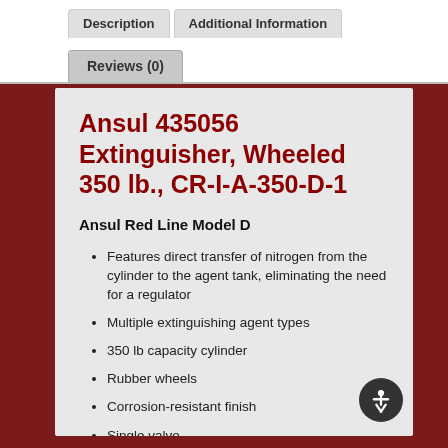Description | Additional Information | Reviews (0)
Ansul 435056 Extinguisher, Wheeled 350 lb., CR-I-A-350-D-1
Ansul Red Line Model D
Features direct transfer of nitrogen from the cylinder to the agent tank, eliminating the need for a regulator
Multiple extinguishing agent types
350 lb capacity cylinder
Rubber wheels
Corrosion-resistant finish
Single valve